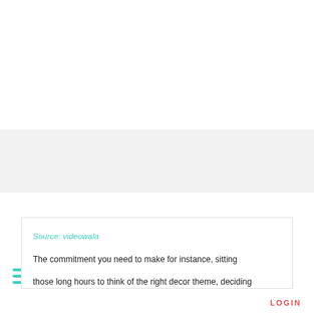[Figure (screenshot): White empty area at the top of the page, representing a blank section of a webpage.]
≡  LOGIN
Source: videowala
The commitment you need to make for instance, sitting those long hours to think of the right decor theme, deciding